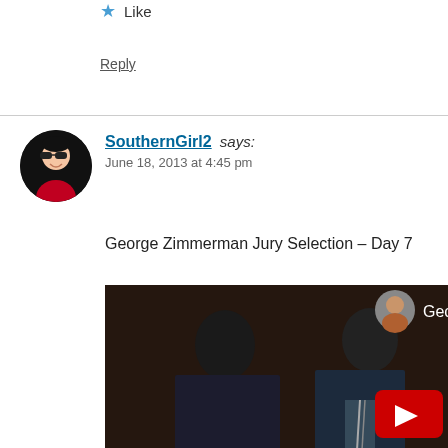Like
Reply
SouthernGirl2 says:
June 18, 2013 at 4:45 pm
George Zimmerman Jury Selection – Day 7
[Figure (screenshot): YouTube video thumbnail showing George Zimmerman Jury Selection - Day 7 court footage with two men in suits visible and a YouTube play button in the bottom right corner]